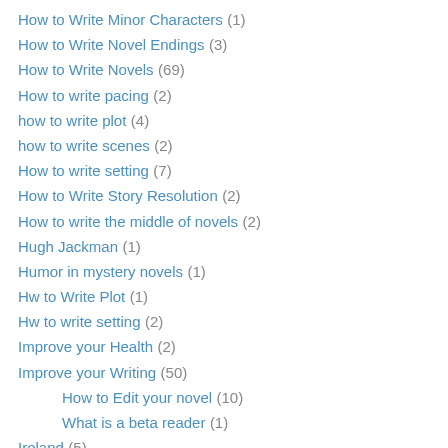How to Write Minor Characters (1)
How to Write Novel Endings (3)
How to Write Novels (69)
How to write pacing (2)
how to write plot (4)
how to write scenes (2)
How to write setting (7)
How to Write Story Resolution (2)
How to write the middle of novels (2)
Hugh Jackman (1)
Humor in mystery novels (1)
Hw to Write Plot (1)
Hw to write setting (2)
Improve your Health (2)
Improve your Writing (50)
How to Edit your novel (10)
What is a beta reader (1)
Ireland (5)
County Antrim (2)
Irish Cuisine (2)